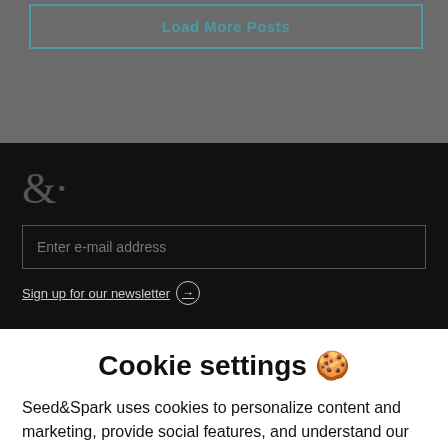Load More Posts
[Figure (logo): Seed&Spark ampersand logo in dark gray on black background]
Enter e-mail address
Sign up for our newsletter →
Cookie settings 🍪
Seed&Spark uses cookies to personalize content and marketing, provide social features, and understand our